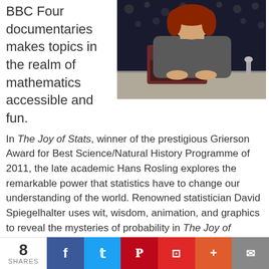BBC Four documentaries makes topics in the realm of mathematics accessible and fun.
[Figure (photo): A woman with long red hair sitting at a desk with a laptop, in front of a dark background with bokeh lights.]
In The Joy of Stats, winner of the prestigious Grierson Award for Best Science/Natural History Programme of 2011, the late academic Hans Rosling explores the remarkable power that statistics have to change our understanding of the world. Renowned statistician David Spiegelhalter uses wit, wisdom, animation, and graphics to reveal the mysteries of probability in The Joy of Chance (aka Tails You Win: The Science of Chance). Computer scientist Dave Cliff relates the fascinating story of the quest for certainty and the fundamentals of sound reasoning in The Joy of Logic. And in The Joy of Data, badass mathematician Dr. Hannah Fry
8 SHARES | Facebook | Twitter | Pinterest | Flipboard | Plus | Email